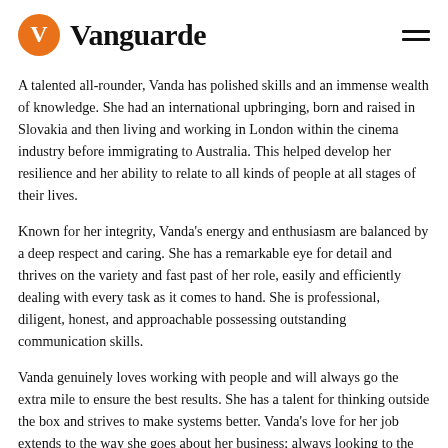Vanguarde
A talented all-rounder, Vanda has polished skills and an immense wealth of knowledge. She had an international upbringing, born and raised in Slovakia and then living and working in London within the cinema industry before immigrating to Australia. This helped develop her resilience and her ability to relate to all kinds of people at all stages of their lives.
Known for her integrity, Vanda's energy and enthusiasm are balanced by a deep respect and caring. She has a remarkable eye for detail and thrives on the variety and fast past of her role, easily and efficiently dealing with every task as it comes to hand. She is professional, diligent, honest, and approachable possessing outstanding communication skills.
Vanda genuinely loves working with people and will always go the extra mile to ensure the best results. She has a talent for thinking outside the box and strives to make systems better. Vanda's love for her job extends to the way she goes about her business; always looking to the end result and committed to success for the staff, clients, and the business.